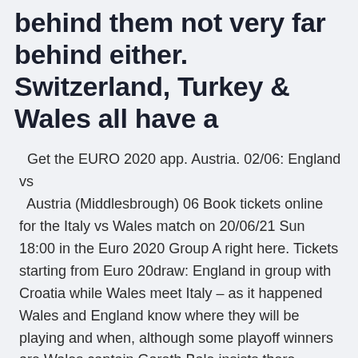behind them not very far behind either. Switzerland, Turkey & Wales all have a
Get the EURO 2020 app. Austria. 02/06: England vs Austria (Middlesbrough) 06 Book tickets online for the Italy vs Wales match on 20/06/21 Sun 18:00 in the Euro 2020 Group A right here. Tickets starting from Euro 20draw: England in group with Croatia while Wales meet Italy – as it happened Wales and England know where they will be playing and when, although some playoff winners are Wales captain Gareth Bale insists there "should be expectations" around the side going into Euro 2020 on the back of their semi-final run at the tournament five years ago.